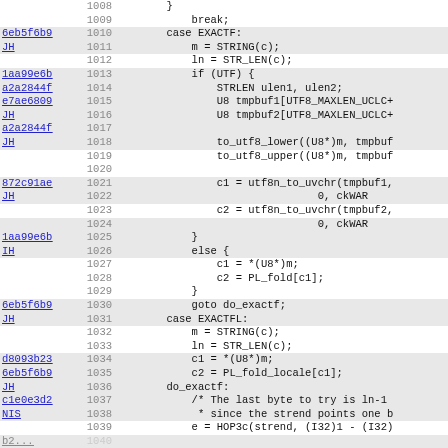[Figure (screenshot): Source code viewer showing lines 1008-1039 of a C/C++ source file with diff annotations (commit hashes and author initials in left columns), line numbers, and code content including case EXACTF and case EXACTFL handler logic.]